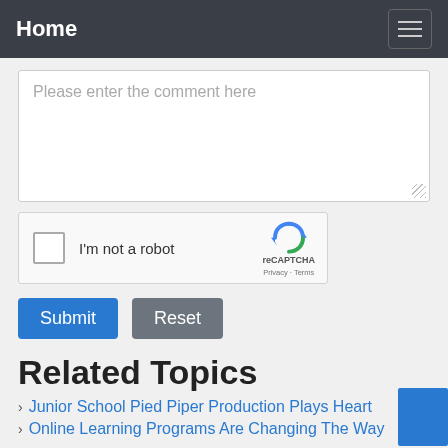Home
Please enter the comment here
[Figure (screenshot): reCAPTCHA widget with checkbox labeled 'I'm not a robot' and the reCAPTCHA logo with Privacy and Terms links]
Submit  Reset
Related Topics
Junior School Pied Piper Production Plays Heart
Online Learning Programs Are Changing The Way